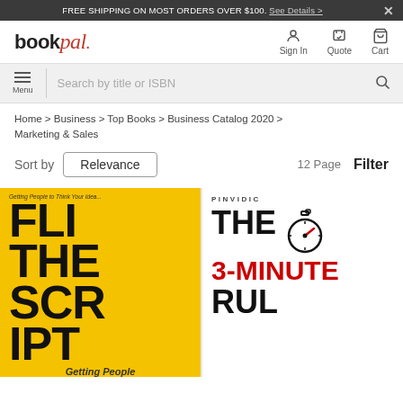FREE SHIPPING ON MOST ORDERS OVER $100. See Details >
[Figure (screenshot): BookPal logo with navigation icons for Sign In, Quote, Cart]
[Figure (screenshot): Search bar with Menu button and search icon]
Home > Business > Top Books > Business Catalog 2020 > Marketing & Sales
Sort by Relevance
12 Page  Filter
[Figure (photo): Book cover: Flip The Script - Getting People to Think Your Idea is Their Idea, yellow cover with large black text]
[Figure (photo): Book cover: The 3-Minute Rule by Pinvidic, white cover with stopwatch icon and red 3-MINUTE text]